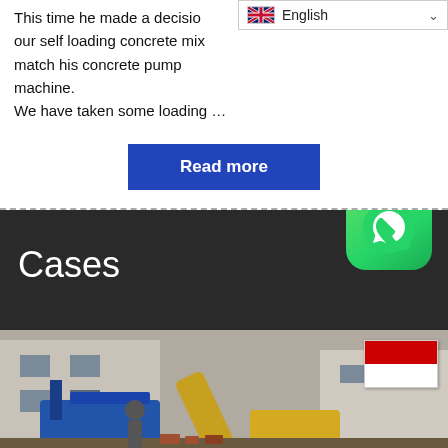This time he made a decision to buy our self loading concrete mixer to match his concrete pump machine. We have taken some loading …
Read more
Cases
[Figure (photo): Construction site photo showing excavator arm and construction equipment with workers and a building in the background. Indonesian flag overlay in top right of image.]
[Figure (illustration): WhatsApp icon — green rounded square with white phone handset in speech bubble]